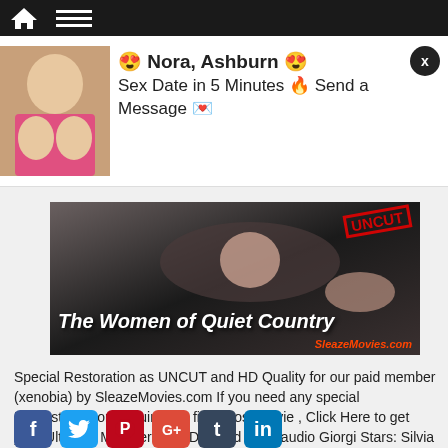[Figure (screenshot): Advertisement popup with photo of a woman and text: Nora, Ashburn. Sex Date in 5 Minutes Send a Message]
[Figure (photo): Movie banner image for 'The Women of Quiet Country' with UNCUT stamp and SleazeMovies.com watermark]
Special Restoration as UNCUT and HD Quality for our paid member (xenobia) by SleazeMovies.com If you need any special Remastering or Requiring to find a lost movie , Click Here to get your Ultimate Membership ! Directed by: Claudio Giorgi Stars: Silvia Dionisio, Philippe Leroy, Carmen Scarpitta, Christian Borromeo, Rossana […]
[Figure (other): Social media sharing icons row: Facebook, Twitter, Pinterest, Google+, Tumblr, LinkedIn]